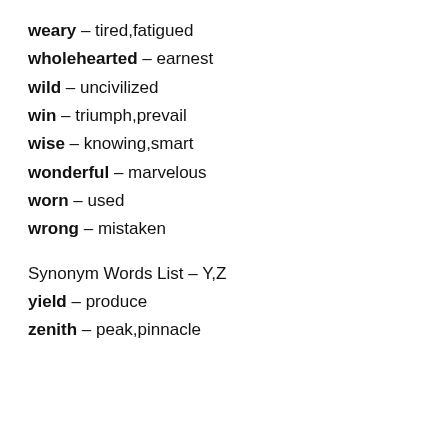weary – tired,fatigued
wholehearted – earnest
wild – uncivilized
win – triumph,prevail
wise – knowing,smart
wonderful – marvelous
worn – used
wrong – mistaken
Synonym Words List – Y,Z
yield – produce
zenith – peak,pinnacle